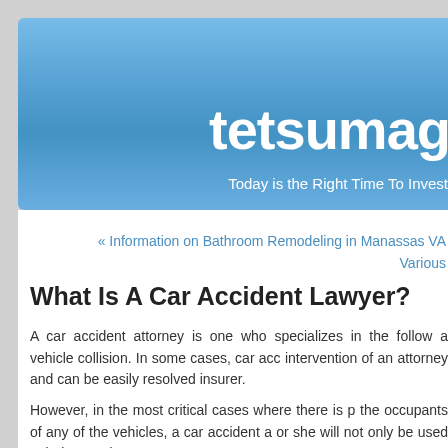tetsumag
Today is the Right Time To Invest
« Information on Bathroom Remodeling in Manassas VA
Various
What Is A Car Accident Lawyer?
A car accident attorney is one who specializes in the follow a vehicle collision. In some cases, car acco intervention of an attorney and can be easily resolved insurer.
However, in the most critical cases where there is pr the occupants of any of the vehicles, a car accident a or she will not only be used to help you clear up any